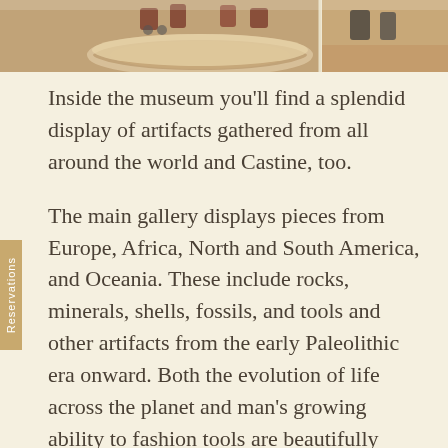[Figure (photo): Interior museum photo showing circular display tables and chairs on terracotta tile floor, split into two panels]
Inside the museum you'll find a splendid display of artifacts gathered from all around the world and Castine, too.
The main gallery displays pieces from Europe, Africa, North and South America, and Oceania. These include rocks, minerals, shells, fossils, and tools and other artifacts from the early Paleolithic era onward. Both the evolution of life across the planet and man's growing ability to fashion tools are beautifully documented.
You'll see 270 million-year-old trilobites, early firearms, Peruvian pottery, ship models